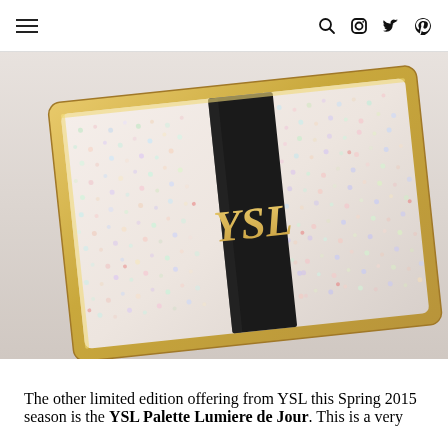≡  🔍 Instagram Twitter Pinterest
[Figure (photo): Close-up photo of a YSL (Yves Saint Laurent) Palette Lumiere de Jour compact. The compact has a gold frame, a white/iridescent glittery surface covered in tiny multicolored dots, and a black velvet stripe running diagonally with the gold YSL logo on it.]
The other limited edition offering from YSL this Spring 2015 season is the YSL Palette Lumiere de Jour. This is a very